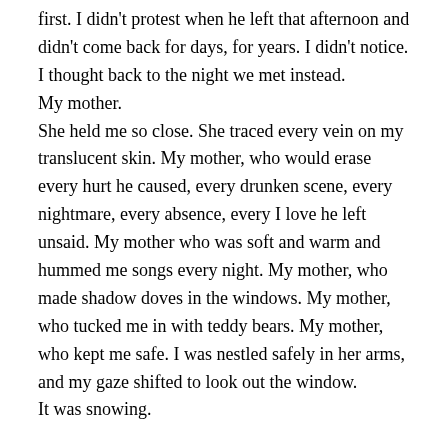first. I didn't protest when he left that afternoon and didn't come back for days, for years. I didn't notice. I thought back to the night we met instead.
My mother.
She held me so close. She traced every vein on my translucent skin. My mother, who would erase every hurt he caused, every drunken scene, every nightmare, every absence, every I love he left unsaid. My mother who was soft and warm and hummed me songs every night. My mother, who made shadow doves in the windows. My mother, who tucked me in with teddy bears. My mother, who kept me safe. I was nestled safely in her arms, and my gaze shifted to look out the window.
It was snowing.
About the Author: